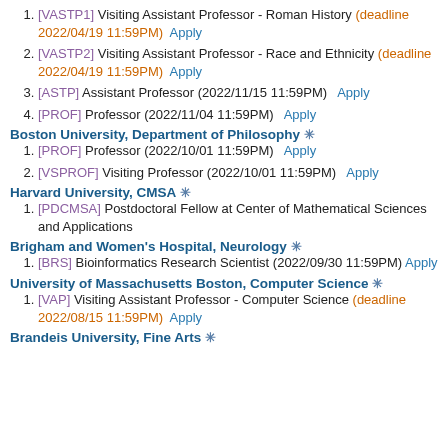[VASTP1] Visiting Assistant Professor - Roman History (deadline 2022/04/19 11:59PM) Apply
[VASTP2] Visiting Assistant Professor - Race and Ethnicity (deadline 2022/04/19 11:59PM) Apply
[ASTP] Assistant Professor (2022/11/15 11:59PM) Apply
[PROF] Professor (2022/11/04 11:59PM) Apply
Boston University, Department of Philosophy ❄
[PROF] Professor (2022/10/01 11:59PM) Apply
[VSPROF] Visiting Professor (2022/10/01 11:59PM) Apply
Harvard University, CMSA ❄
[PDCMSA] Postdoctoral Fellow at Center of Mathematical Sciences and Applications
Brigham and Women's Hospital, Neurology ❄
[BRS] Bioinformatics Research Scientist (2022/09/30 11:59PM) Apply
University of Massachusetts Boston, Computer Science ❄
[VAP] Visiting Assistant Professor - Computer Science (deadline 2022/08/15 11:59PM) Apply
Brandeis University, Fine Arts ❄